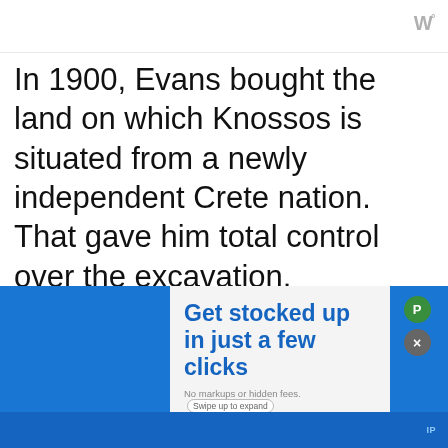W°
In 1900, Evans bought the land on which Knossos is situated from a newly independent Crete nation. That gave him total control over the excavation. Characteristic of the time, Evans reserved for himself the right to
[Figure (screenshot): Advertisement overlay: blue background with white card showing 'Get stocked up in just a few clicks' headline in blue text, 'No markups or hidden fees.' subtext, 'Swipe up to expand' button, green P icon and grey X close icon on the right.]